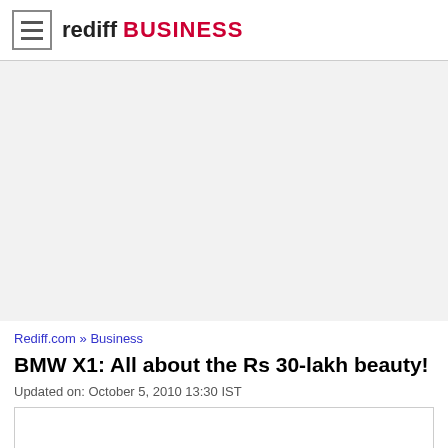rediff BUSINESS
[Figure (other): Advertisement/blank area with light gray background]
Rediff.com » Business
BMW X1: All about the Rs 30-lakh beauty!
Updated on: October 5, 2010 13:30 IST
[Figure (other): Content box area, white background with border]